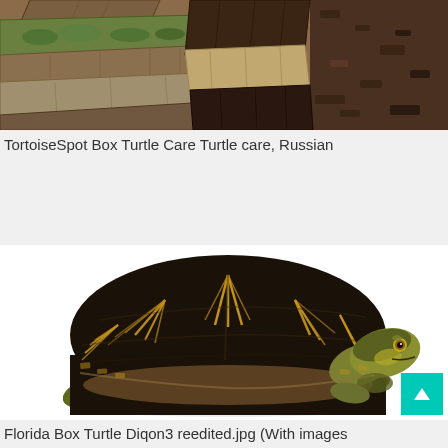[Figure (photo): A photo of logs and wood on rocky/earthy ground, with green moss visible on wood pieces. Appears to be a natural outdoor scene with debris and wood scraps.]
TortoiseSpot Box Turtle Care Turtle care, Russian
[Figure (photo): A Florida Box Turtle (Terrapene carolina bauri) photographed on a white background. The turtle has a dark brown/black domed shell with distinctive yellow-orange radiating stripe patterns. The turtle's head and legs are visible, showing yellowish-green coloring with spots.]
Florida Box Turtle Diqon3 reedited.jpg (With images